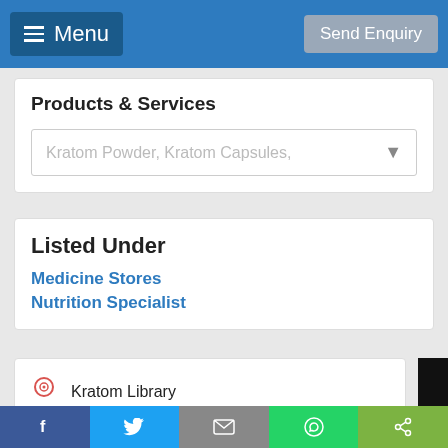Menu | Send Enquiry
Products & Services
Kratom Powder, Kratom Capsules,
Listed Under
Medicine Stores
Nutrition Specialist
Kratom Library
555 W Lambert Rd, Brea, CA 92821
Visit Website
View On Map
Facebook | Twitter | Email | WhatsApp | Share